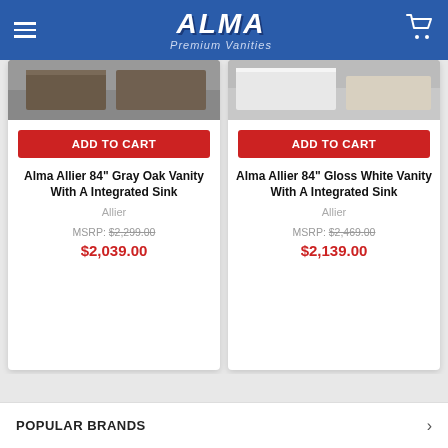ALMA Premium Vanities (navigation header with hamburger menu and cart icon)
[Figure (screenshot): Product image for Alma Allier 84" Gray Oak Vanity — cropped photo showing lower portion of gray oak vanity]
ADD TO CART
Alma Allier 84" Gray Oak Vanity With A Integrated Sink
Allier
MSRP: $2,299.00
$2,039.00
[Figure (screenshot): Product image for Alma Allier 84" Gloss White Vanity — cropped photo showing lower portion of white vanity]
ADD TO CART
Alma Allier 84" Gloss White Vanity With A Integrated Sink
Allier
MSRP: $2,469.00
$2,139.00
POPULAR BRANDS